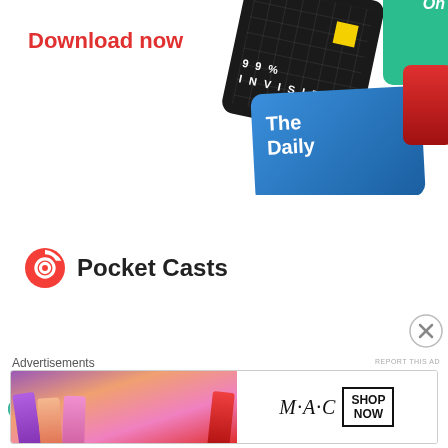[Figure (screenshot): Pocket Casts app advertisement with 'Download now' text and podcast app icons (99% Invisible, The Daily, etc.)]
REPORT THIS AD
[Figure (illustration): Teal ornamental cross/flower icon for Ron Cohen For Congress 2018 Facebook post]
Ron Cohen For Congress 2018
August 24, 2016 at 4:28 PM
Social Security calculations and rules are very complex. It is very hard to take questions about individual cases “on the fly.”
However, “scrap the can” is a socialist
Advertisements
[Figure (photo): M·A·C cosmetics advertisement banner with colorful lipsticks and 'SHOP NOW' button]